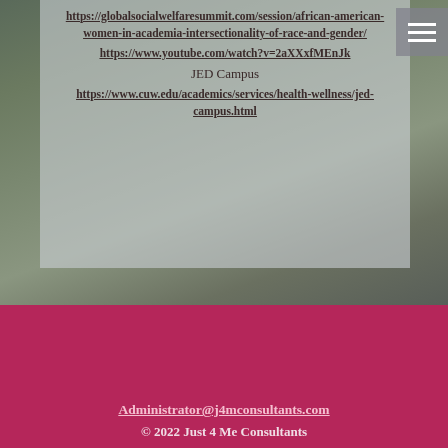https://globalsocialwelfaresummit.com/session/african-american-women-in-academia-intersectionality-of-race-and-gender/
https://www.youtube.com/watch?v=2aXXxfMEnJk
JED Campus
https://www.cuw.edu/academics/services/health-wellness/jed-campus.html
Administrator@j4mconsultants.com
© 2022 Just 4 Me Consultants